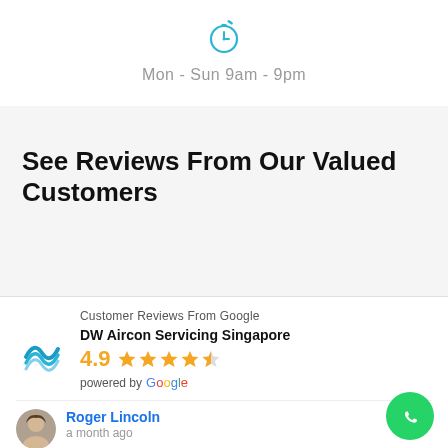[Figure (illustration): Teal/blue stopwatch icon centered at top]
Mon - Sun 9am - 9pm
See Reviews From Our Valued Customers
[Figure (infographic): Google Reviews widget showing DW Aircon Servicing Singapore with 4.9 star rating, powered by Google, and reviewer Roger Lincoln a month ago]
Customer Reviews From Google
DW Aircon Servicing Singapore
4.9
powered by Google
Roger Lincoln
a month ago